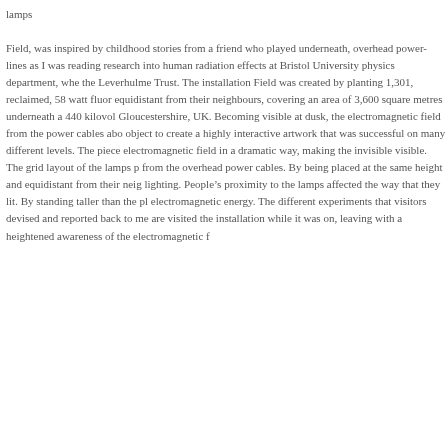lamps
Field, was inspired by childhood stories from a friend who played underneath, overhead power-lines as I was reading research into human radiation effects at Bristol University physics department, whe the Leverhulme Trust. The installation Field was created by planting 1,301, reclaimed, 58 watt fluor equidistant from their neighbours, covering an area of 3,600 square metres underneath a 440 kilovol Gloucestershire, UK. Becoming visible at dusk, the electromagnetic field from the power cables abo object to create a highly interactive artwork that was successful on many different levels. The piece electromagnetic field in a dramatic way, making the invisible visible. The grid layout of the lamps p from the overhead power cables. By being placed at the same height and equidistant from their neig lighting. People’s proximity to the lamps affected the way that they lit. By standing taller than the pl electromagnetic energy. The different experiments that visitors devised and reported back to me are visited the installation while it was on, leaving with a heightened awareness of the electromagnetic f